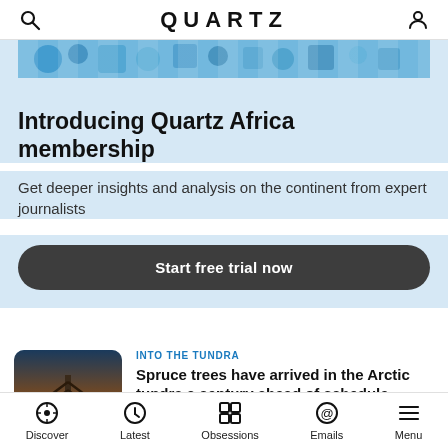QUARTZ
[Figure (illustration): Partial decorative image strip showing Quartz Africa themed artwork]
Introducing Quartz Africa membership
Get deeper insights and analysis on the continent from expert journalists
Start free trial now
INTO THE TUNDRA
[Figure (photo): Winter tundra landscape with spruce tree silhouette at sunset]
Spruce trees have arrived in the Arctic tundra a century ahead of schedule
Quartz · August 13, 2022
Discover  Latest  Obsessions  Emails  Menu